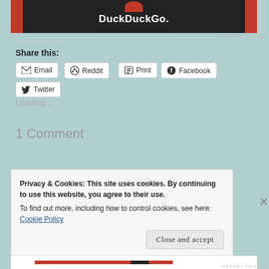[Figure (screenshot): DuckDuckGo advertisement banner with orange sides and dark center showing DuckDuckGo logo text in white]
REPORT THIS AD
Share this:
Email
Reddit
Print
Facebook
Twitter
Loading...
1 Comment
Privacy & Cookies: This site uses cookies. By continuing to use this website, you agree to their use.
To find out more, including how to control cookies, see here: Cookie Policy
Close and accept